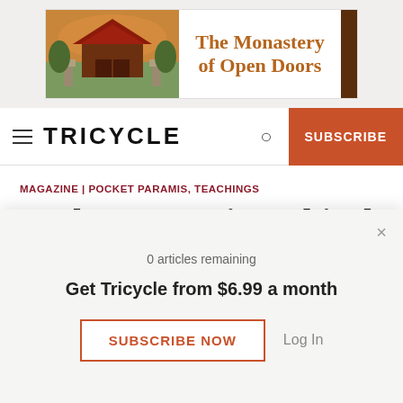[Figure (illustration): Ad banner for The Monastery of Open Doors with a temple/shrine image on the left and dark brown vertical bar on the right]
TRICYCLE
MAGAZINE | POCKET PARAMIS, TEACHINGS
Pocket Paramis: Ethical Conduct
Printable aids for the pillars of Buddhist practice
0 articles remaining
Get Tricycle from $6.99 a month
SUBSCRIBE NOW
Log In